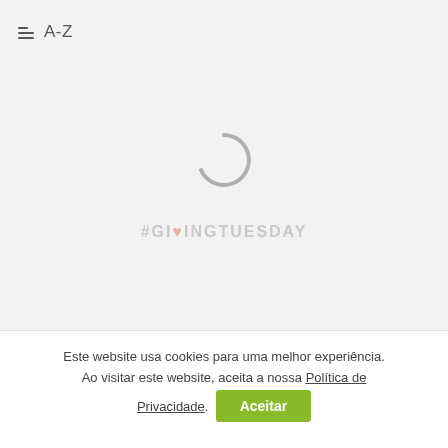A-Z
[Figure (other): Loading spinner (partial circle arc in gray) with a faint #GivingTuesday watermark text below it]
Este website usa cookies para uma melhor experiência. Ao visitar este website, aceita a nossa Política de Privacidade. Aceitar